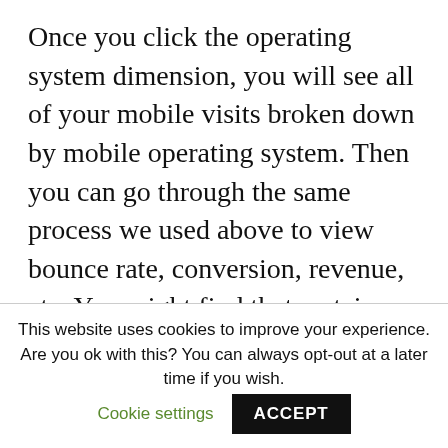Once you click the operating system dimension, you will see all of your mobile visits broken down by mobile operating system. Then you can go through the same process we used above to view bounce rate, conversion, revenue, etc. You might find that certain OS's have more problems than others. For example, maybe iPad traffic has a 92% bounce rate and very low conversion rates, where Android phones have a 42% bounce rate
This website uses cookies to improve your experience. Are you ok with this? You can always opt-out at a later time if you wish. Cookie settings ACCEPT